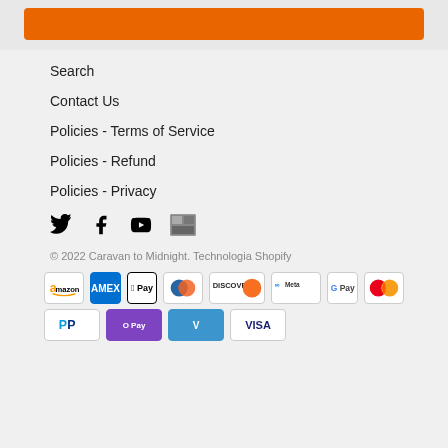[Figure (other): Orange sign-up button at top of page]
Search
Contact Us
Policies - Terms of Service
Policies - Refund
Policies - Privacy
[Figure (other): Social media icons: Twitter, Facebook, YouTube, and a fourth icon]
© 2022 Caravan to Midnight. Technologia Shopify
[Figure (other): Payment method badges: Amazon, Amex, Apple Pay, Diners Club, Discover, Meta, Google Pay, Mastercard, PayPal, Shop Pay, Venmo, Visa]